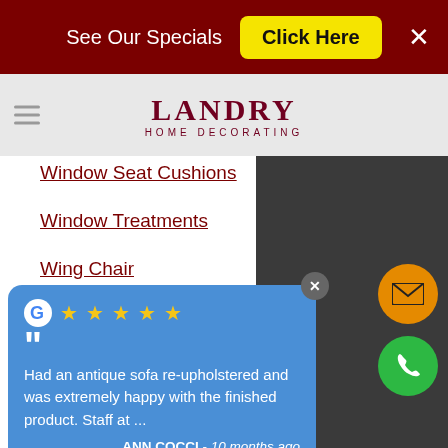See Our Specials  Click Here
[Figure (logo): Landry Home Decorating logo with text and decorative background]
Window Seat Cushions
Window Treatments
Wing Chair
RSS Feed
Had an antique sofa re-upholstered and was extremely happy with the finished product. Staff at ...
ANN COCCI - 10 months ago